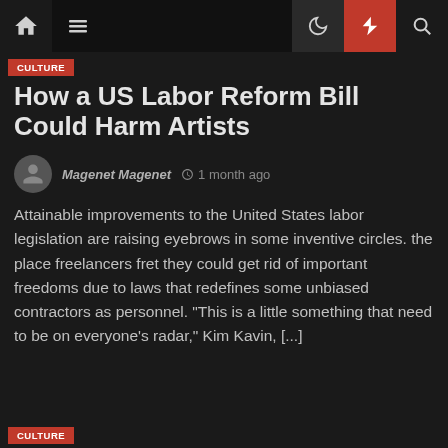Navigation bar with home, menu, moon, bolt, and search icons
CULTURE
How a US Labor Reform Bill Could Harm Artists
Magenet Magenet  1 month ago
Attainable improvements to the United States labor legislation are raising eyebrows in some inventive circles. the place freelancers fret they could get rid of important freedoms due to laws that redefines some unbiased contractors as personnel. "This is a little something that need to be on everyone's radar," Kim Kavin, [...]